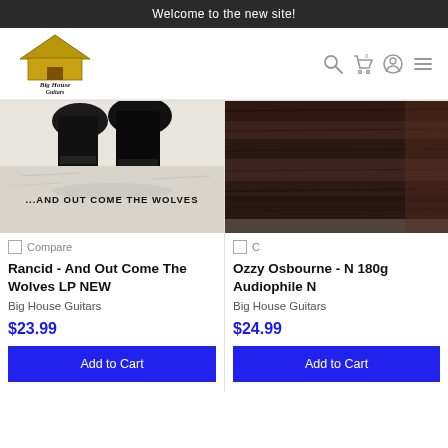Welcome to the new site!
[Figure (logo): Big House Guitars logo with house and guitar illustration in gold/black]
[Figure (screenshot): Navigation icons: search, cart (0), account, menu]
[Figure (photo): Album cover for Rancid - And Out Come The Wolves, black and white image with boots and text '...AND OUT COME THE WOLVES']
Compare
Rancid - And Out Come The Wolves LP NEW
Big House Guitars
$23.99
Add to Cart
[Figure (photo): Album cover for Ozzy Osbourne, partially visible, dark reddish/brown tones showing wooden floor]
C
Ozzy Osbourne - N 180g Audiophile N
Big House Guitars
$24.99
Add to Cart